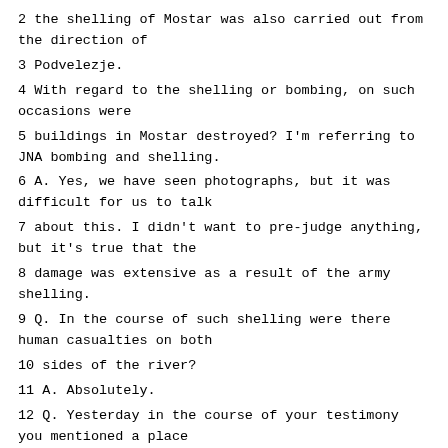2 the shelling of Mostar was also carried out from the direction of
3 Podvelezje.
4 With regard to the shelling or bombing, on such occasions were
5 buildings in Mostar destroyed? I'm referring to JNA bombing and shelling.
6 A. Yes, we have seen photographs, but it was difficult for us to talk
7 about this. I didn't want to pre-judge anything, but it's true that the
8 damage was extensive as a result of the army shelling.
9 Q. In the course of such shelling were there human casualties on both
10 sides of the river?
11 A. Absolutely.
12 Q. Yesterday in the course of your testimony you mentioned a place
13 called Uburak. Do you know where that is?